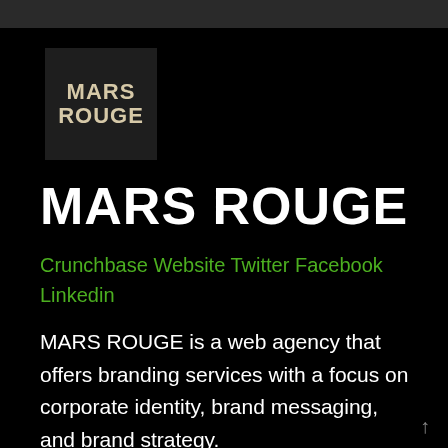[Figure (logo): MARS ROUGE logo — dark square background with beige/cream bold uppercase text reading MARS ROUGE in two lines]
MARS ROUGE
Crunchbase Website Twitter Facebook Linkedin
MARS ROUGE is a web agency that offers branding services with a focus on corporate identity, brand messaging, and brand strategy.